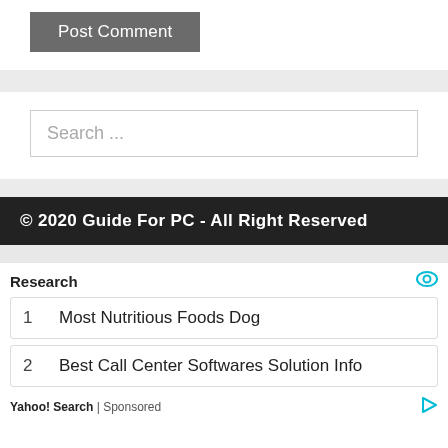[Figure (other): Post Comment button — dark gray background with white text]
Search ...
© 2020 Guide For PC - All Right Reserved
Research
1   Most Nutritious Foods Dog
2   Best Call Center Softwares Solution Info
Yahoo! Search | Sponsored